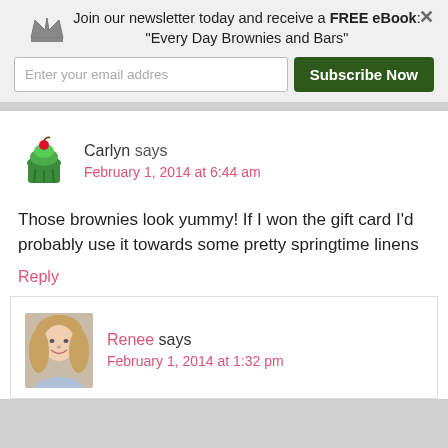Join our newsletter today and receive a FREE eBook: "Every Day Brownies and Bars"
Enter your email addres
Subscribe Now
Carlyn says
February 1, 2014 at 6:44 am
Those brownies look yummy! If I won the gift card I'd probably use it towards some pretty springtime linens
Reply
Renee says
February 1, 2014 at 1:32 pm